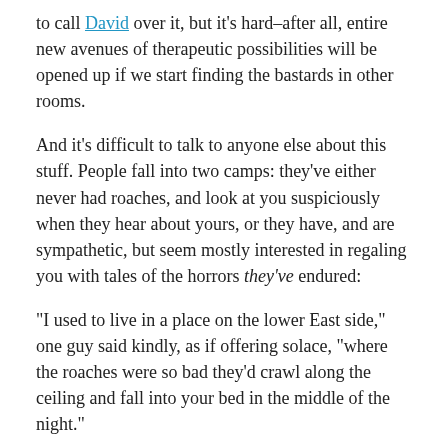to call David over it, but it's hard–after all, entire new avenues of therapeutic possibilities will be opened up if we start finding the bastards in other rooms.
And it's difficult to talk to anyone else about this stuff. People fall into two camps: they've either never had roaches, and look at you suspiciously when they hear about yours, or they have, and are sympathetic, but seem mostly interested in regaling you with tales of the horrors they've endured:
“I used to live in a place on the lower East side,” one guy said kindly, as if offering solace, “where the roaches were so bad they’d crawl along the ceiling and fall into your bed in the middle of the night.”
“We had them too.” a different friend chimed in. “I used to turn out all the lights and wait in the kitchen with a can of Raid. When I heard them clicking I’d turn on the lights and gas em!”